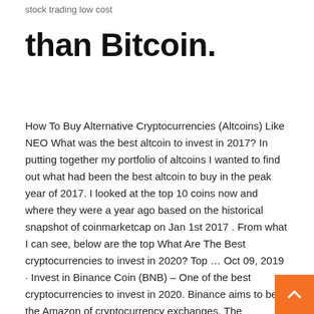stock trading low cost
than Bitcoin.
How To Buy Alternative Cryptocurrencies (Altcoins) Like NEO What was the best altcoin to invest in 2017? In putting together my portfolio of altcoins I wanted to find out what had been the best altcoin to buy in the peak year of 2017. I looked at the top 10 coins now and where they were a year ago based on the historical snapshot of coinmarketcap on Jan 1st 2017 . From what I can see, below are the top What Are The Best cryptocurrencies to invest in 2020? Top … Oct 09, 2019 · Invest in Binance Coin (BNB) – One of the best cryptocurrencies to invest in 2020. Binance aims to be the Amazon of cryptocurrency exchanges. The company's CEO, Changpeng Zhao recently announced users can buy crypto with visa cards for the first time. Other payment methods like fiat-to-crypto, Mastercard, American Express are on the way Best Altcoins to invest in 2019 for huge profit - Tips 2 … After that, you will get medium risk altcoins to invest in 2019 and with these altcoins, you will get a